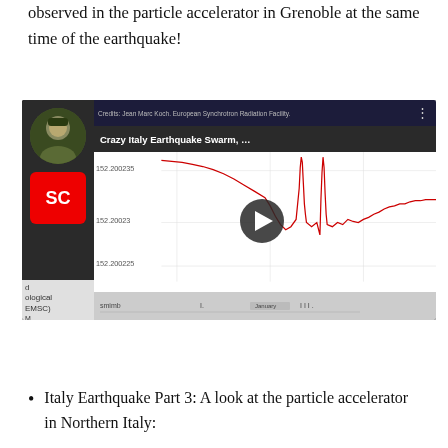observed in the particle accelerator in Grenoble at the same time of the earthquake!
[Figure (screenshot): Embedded video thumbnail showing 'Crazy Italy Earthquake Swarm...' with Credits: Jean Marc Koch, European Synchrotron Radiation Facility. Shows a seismograph waveform chart in red on white background, with a YouTube-style play button overlay. Left side shows EMSC channel logo (red square with SC text) and avatar. Bottom shows timeline bar.]
Italy Earthquake Part 3: A look at the particle accelerator in Northern Italy: